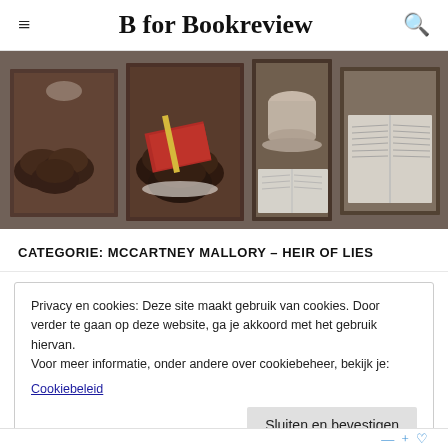B for Bookreview
[Figure (photo): Five-panel collage photo of muffins/cookies on a plate, a red notebook with pencil, a coffee cup on saucer, and an open book, arranged on a dark table background.]
CATEGORIE: MCCARTNEY MALLORY – HEIR OF LIES
Privacy en cookies: Deze site maakt gebruik van cookies. Door verder te gaan op deze website, ga je akkoord met het gebruik hiervan. Voor meer informatie, onder andere over cookiebeheer, bekijk je: Cookiebeleid
Sluiten en bevestigen